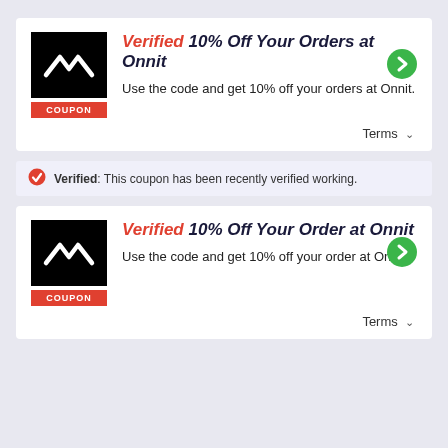[Figure (logo): Onnit logo black square with white wave symbol, COUPON badge below]
Verified 10% Off Your Orders at Onnit
Use the code and get 10% off your orders at Onnit.
Terms
Verified: This coupon has been recently verified working.
[Figure (logo): Onnit logo black square with white wave symbol, COUPON badge below]
Verified 10% Off Your Order at Onnit
Use the code and get 10% off your order at Onnit.
Terms